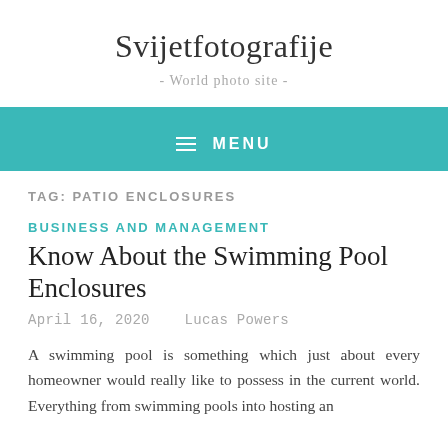Svijetfotografije
- World photo site -
MENU
TAG: PATIO ENCLOSURES
BUSINESS AND MANAGEMENT
Know About the Swimming Pool Enclosures
April 16, 2020   Lucas Powers
A swimming pool is something which just about every homeowner would really like to possess in the current world. Everything from swimming pools into hosting an